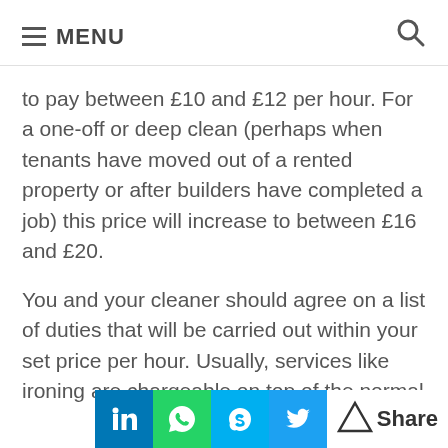≡ MENU
to pay between £10 and £12 per hour. For a one-off or deep clean (perhaps when tenants have moved out of a rented property or after builders have completed a job) this price will increase to between £16 and £20.
You and your cleaner should agree on a list of duties that will be carried out within your set price per hour. Usually, services like ironing are chargeable on top of the normal